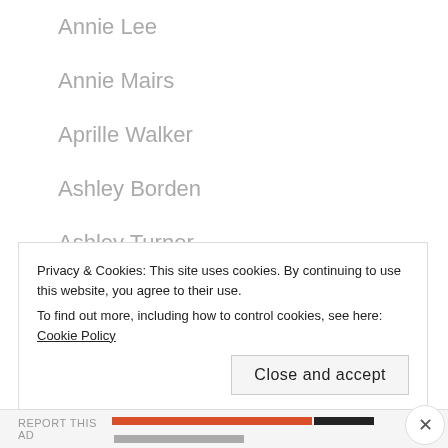Annie Lee
Annie Mairs
Aprille Walker
Ashley Borden
Ashley Turner
Autumn Calabrese
B.J. Gaddour
Billy Blanks
Bob Harper
Privacy & Cookies: This site uses cookies. By continuing to use this website, you agree to their use.
To find out more, including how to control cookies, see here: Cookie Policy